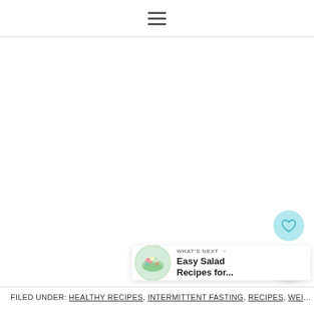☰ (hamburger menu icon)
[Figure (other): Floating heart/save button (teal circle with heart icon)]
[Figure (other): Floating share button (white circle with share icon)]
[Figure (other): What's Next card showing a salad thumbnail and text 'Easy Salad Recipes for...']
FILED UNDER: HEALTHY RECIPES, INTERMITTENT FASTING, RECIPES, WEIGHT